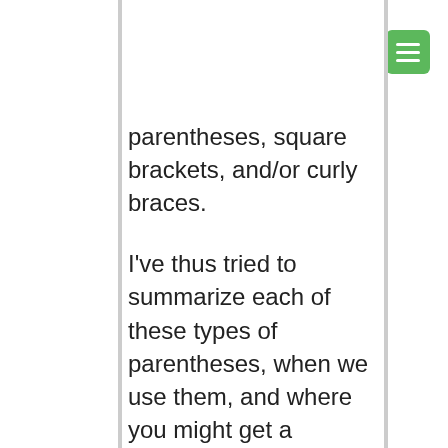parentheses, square brackets, and/or curly braces.
I've thus tried to summarize each of these types of parentheses, when we use them, and where you might get a surprise as a result.  If you're new to Python, then I hope that this will help to give you a clearer picture of what is used when.
I should also note that the large number of parentheses that we use in Python means that using an editor that colorizes both matching and mismatched parentheses can really help. On no small number of occasions, I've been able to find bugs